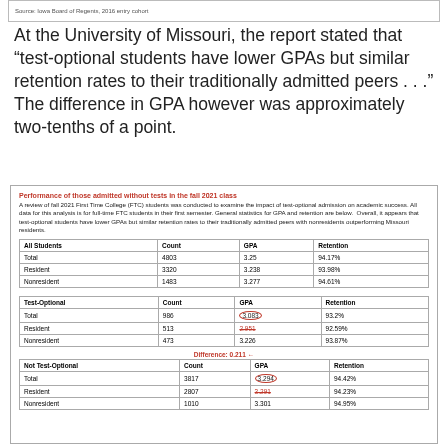Source: Iowa Board of Regents, 2016 entry cohort
At the University of Missouri, the report stated that “test-optional students have lower GPAs but similar retention rates to their traditionally admitted peers . . .” The difference in GPA however was approximately two-tenths of a point.
Performance of those admitted without tests in the fall 2021 class
A review of fall 2021 First Time College (FTC) students was conducted to examine the impact of test-optional admission on academic success. All data for this analysis is for full-time FTC students in their first semester. General statistics for GPA and retention are below. Overall, it appears that test-optional students have lower GPAs but similar retention rates to their traditionally admitted peers with nonresidents outperforming Missouri residents.
| All Students | Count | GPA | Retention |
| --- | --- | --- | --- |
| Total | 4803 | 3.25 | 94.17% |
| Resident | 3320 | 3.238 | 93.98% |
| Nonresident | 1483 | 3.277 | 94.61% |
| Test-Optional | Count | GPA | Retention |
| --- | --- | --- | --- |
| Total | 986 | 3.083 | 93.2% |
| Resident | 513 | 2.951 | 92.59% |
| Nonresident | 473 | 3.226 | 93.87% |
Difference: 0.211
| Not Test-Optional | Count | GPA | Retention |
| --- | --- | --- | --- |
| Total | 3817 | 3.294 | 94.42% |
| Resident | 2807 | 3.291 | 94.23% |
| Nonresident | 1010 | 3.301 | 94.95% |